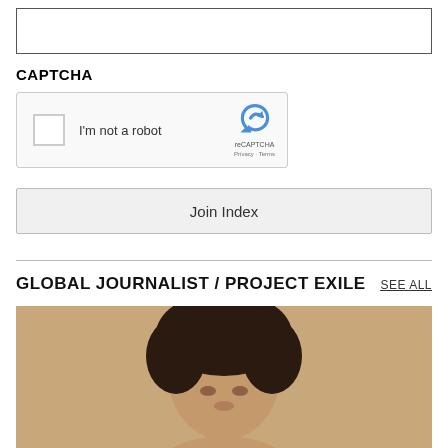[Figure (screenshot): Empty text input field with border]
CAPTCHA
[Figure (screenshot): reCAPTCHA widget with checkbox labeled 'I'm not a robot' and reCAPTCHA logo with Privacy and Terms links]
[Figure (screenshot): Join Index button]
GLOBAL JOURNALIST / PROJECT EXILE
SEE ALL
[Figure (photo): Photo of a woman with curly dark hair against a tan/beige background]